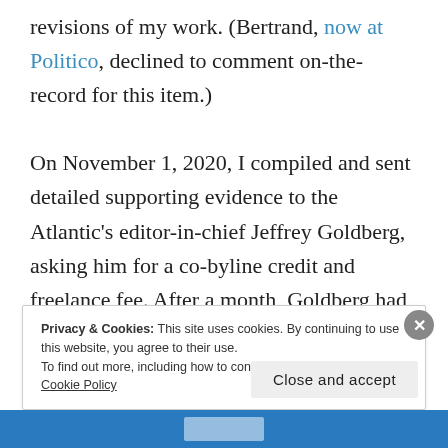revisions of my work. (Bertrand, now at Politico, declined to comment on-the-record for this item.)

On November 1, 2020, I compiled and sent detailed supporting evidence to the Atlantic's editor-in-chief Jeffrey Goldberg, asking him for a co-byline credit and freelance fee. After a month, Goldberg had still not replied, so I forwarded my request to Atlantic Media's vice chairman Peter Lattman.
Privacy & Cookies: This site uses cookies. By continuing to use this website, you agree to their use.
To find out more, including how to control cookies, see here: Cookie Policy